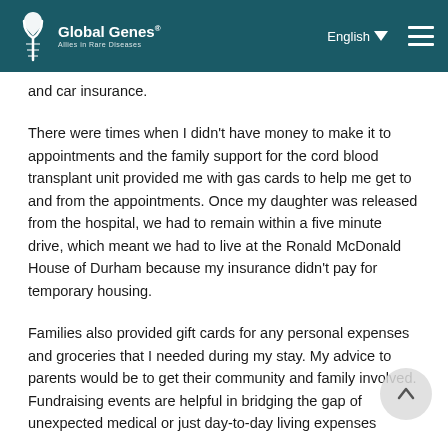Global Genes — English
and car insurance.
There were times when I didn't have money to make it to appointments and the family support for the cord blood transplant unit provided me with gas cards to help me get to and from the appointments. Once my daughter was released from the hospital, we had to remain within a five minute drive, which meant we had to live at the Ronald McDonald House of Durham because my insurance didn't pay for temporary housing.
Families also provided gift cards for any personal expenses and groceries that I needed during my stay. My advice to parents would be to get their community and family involved. Fundraising events are helpful in bridging the gap of unexpected medical or just day-to-day living expenses